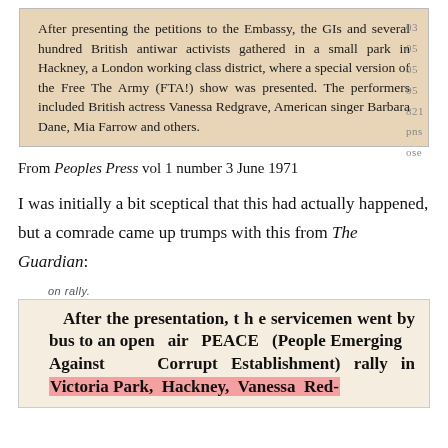[Figure (photo): Scanned newspaper clipping with beige/tan background. Text reads: After presenting the petitions to the Embassy, the GIs and several hundred British antiwar activists gathered in a small park in Hackney, a London working class district, where a special version of the Free The Army (FTA!) show was presented. The performers included British actress Vanessa Redgrave, American singer Barbara Dane, Mia Farrow and others.]
From Peoples Press vol 1 number 3 June 1971
I was initially a bit sceptical that this had actually happened, but a comrade came up trumps with this from The Guardian:
[Figure (photo): Scanned newspaper clipping (The Guardian) with tan background and bold serif text. Text reads: After the presentation, the servicemen went by bus to an open air PEACE (People Emerging Against Corrupt Establishment) rally in Victoria Park, Hackney, Vanessa Red- [cut off]. The words 'Victoria' and 'Park, Hackney, Vanessa Red-' are highlighted in pink.]